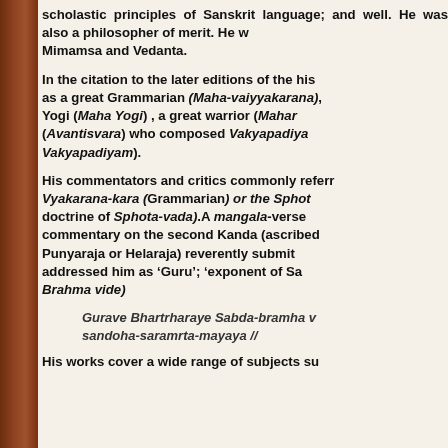scholastic principles of Sanskrit language; and well. He was also a philosopher of merit. He was versed in Mimamsa and Vedanta.
In the citation to the later editions of the his work, he is referred to as a great Grammarian (Maha-vaiyyakarana), a great Yogi (Maha Yogi), a great warrior (Mahastra), and as Avantisvara who composed Vakyapadiya (or also called Vakyapadiyam).
His commentators and critics commonly referred to him as Vyakarana-kara (Grammarian) or the Sphota-vadin (one who expounded the doctrine of Sphota-vada).A mangala-verse prefixed to the commentary on the second Kanda (ascribed to either Punyaraja or Helaraja) reverently submitted and addressed him as 'Guru'; 'exponent of Sabda-Brahma vide)
Gurave Bhartrharaye Sabda-bramha vidine / sandoha-saramrta-mayaya //
His works cover a wide range of subjects such as